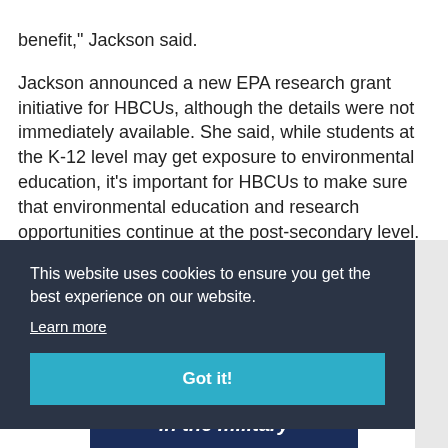benefit," Jackson said.
Jackson announced a new EPA research grant initiative for HBCUs, although the details were not immediately available. She said, while students at the K-12 level may get exposure to environmental education, it's important for HBCUs to make sure that environmental education and research opportunities continue at the post-secondary level.
This website uses cookies to ensure you get the best experience on our website.
Learn more
Got it!
in the military